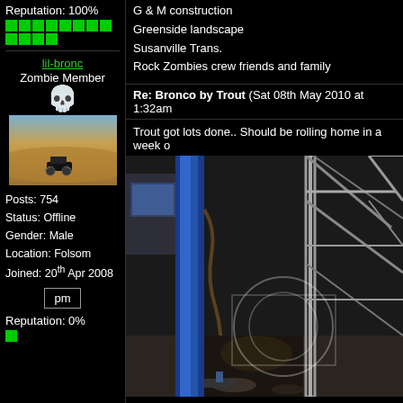Reputation: 100%
G & M construction
Greenside landscape
Susanville Trans.
Rock Zombies crew friends and family
lil-bronc
Zombie Member
[Figure (photo): Avatar image of an off-road truck in a desert landscape]
Posts: 754
Status: Offline
Gender: Male
Location: Folsom
Joined: 20th Apr 2008
pm
Reputation: 0%
Re: Bronco by Trout (Sat 08th May 2010 at 1:32am
Trout got lots done.. Should be rolling home in a week o
[Figure (photo): Shop photo showing a blue hydraulic lift, metal roll cage tubing, and workshop equipment]